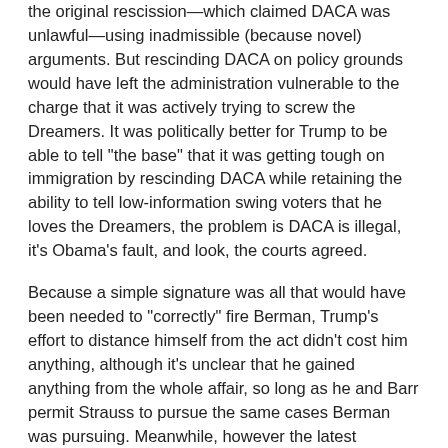the original rescission—which claimed DACA was unlawful—using inadmissible (because novel) arguments. But rescinding DACA on policy grounds would have left the administration vulnerable to the charge that it was actively trying to screw the Dreamers. It was politically better for Trump to be able to tell "the base" that it was getting tough on immigration by rescinding DACA while retaining the ability to tell low-information swing voters that he loves the Dreamers, the problem is DACA is illegal, it's Obama's fault, and look, the courts agreed.
Because a simple signature was all that would have been needed to "correctly" fire Berman, Trump's effort to distance himself from the act didn't cost him anything, although it's unclear that he gained anything from the whole affair, so long as he and Barr permit Strauss to pursue the same cases Berman was pursuing. Meanwhile, however the latest Saturday night massacre plays out, the Trump team's attempt to have it both ways on DACA may have saved DACA. There is reason to hope that by the time Homeland Security completes a new agency proceeding rescinding DACA on policy grounds alone, the Trump administration will be out the door.